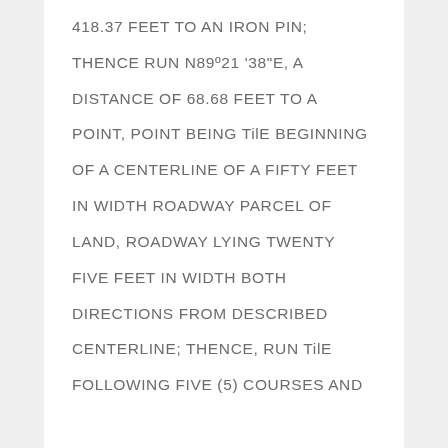418.37 FEET TO AN IRON PIN; THENCE RUN N89º21 '38"E, A DISTANCE OF 68.68 FEET TO A POINT, POINT BEING TilE BEGINNING OF A CENTERLINE OF A FIFTY FEET IN WIDTH ROADWAY PARCEL OF LAND, ROADWAY LYING TWENTY FIVE FEET IN WIDTH BOTH DIRECTIONS FROM DESCRIBED CENTERLINE; THENCE, RUN TilE FOLLOWING FIVE (5) COURSES AND